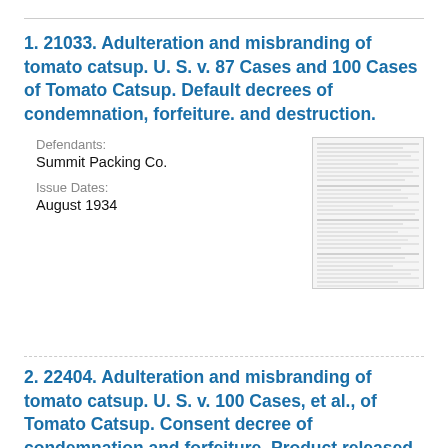1. 21033. Adulteration and misbranding of tomato catsup. U. S. v. 87 Cases and 100 Cases of Tomato Catsup. Default decrees of condemnation, forfeiture. and destruction.
Defendants:
Summit Packing Co.
Issue Dates:
August 1934
[Figure (other): Thumbnail image of a document page with dense small text]
2. 22404. Adulteration and misbranding of tomato catsup. U. S. v. 100 Cases, et al., of Tomato Catsup. Consent decree of condemnation and forfeiture. Product released under bond to be relabeled.